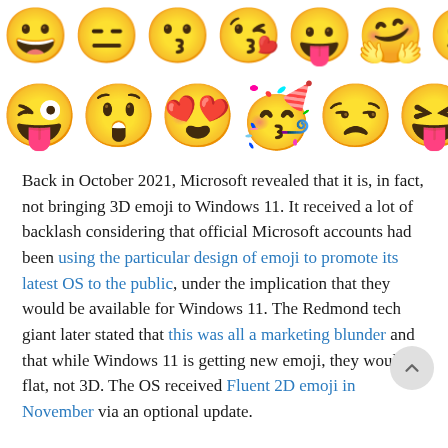[Figure (illustration): Two rows of 3D emoji faces on white background. Top row shows partially visible emoji strip including various expressive faces. Bottom row shows 7 emoji including winking face with tongue, astonished face, heart-eyes face, party face, sleepy/unamused face, tongue-out face, and sick/vomiting face.]
Back in October 2021, Microsoft revealed that it is, in fact, not bringing 3D emoji to Windows 11. It received a lot of backlash considering that official Microsoft accounts had been using the particular design of emoji to promote its latest OS to the public, under the implication that they would be available for Windows 11. The Redmond tech giant later stated that this was all a marketing blunder and that while Windows 11 is getting new emoji, they would be flat, not 3D. The OS received Fluent 2D emoji in November via an optional update.
Now, it appears that 3D emoji could be coming to Windows 11 after all. This particular information comes